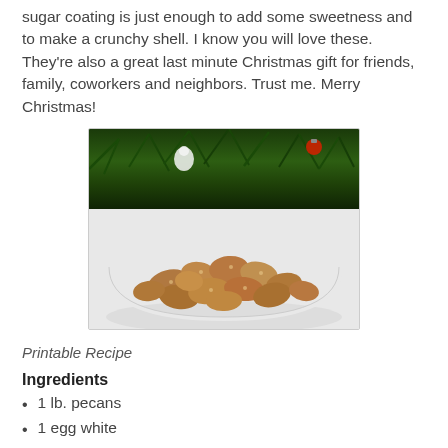sugar coating is just enough to add some sweetness and to make a crunchy shell. I know you will love these. They're also a great last minute Christmas gift for friends, family, coworkers and neighbors. Trust me. Merry Christmas!
[Figure (photo): A white bowl filled with cinnamon sugar coated pecans, sitting in front of a decorated Christmas tree with green pine needles and ornaments in the background.]
Printable Recipe
Ingredients
1 lb. pecans
1 egg white